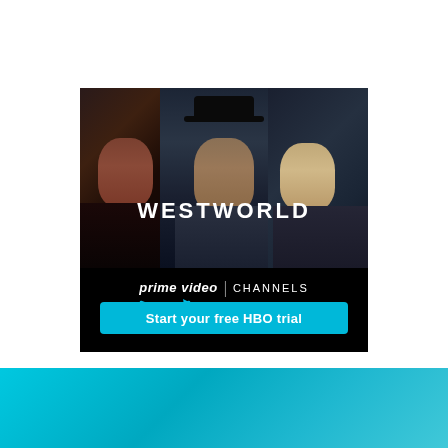[Figure (illustration): Amazon Prime Video Channels advertisement for Westworld HBO show. Shows three characters from the show on a dark background with 'WESTWORLD' title text, 'prime video | CHANNELS' branding, and a cyan 'Start your free HBO trial' call-to-action button. Below the ad banner is a cyan/teal gradient bar.]